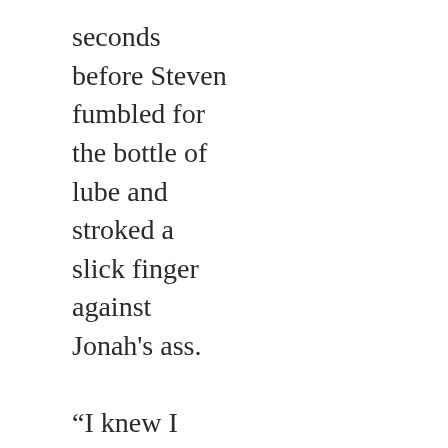seconds before Steven fumbled for the bottle of lube and stroked a slick finger against Jonah's ass.

“I knew I married you for a reason.” Dylan flashed a smile at